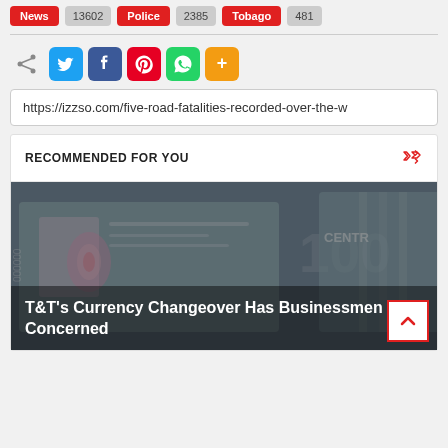News 13602
Police 2385
Tobago 481
[Figure (screenshot): Social share icons row: share symbol, Twitter (blue), Facebook (blue), Pinterest (red), WhatsApp (green), plus button (orange)]
https://izzso.com/five-road-fatalities-recorded-over-the-w
RECOMMENDED FOR YOU
[Figure (photo): Photo of currency notes (T&T dollar bills) with overlay text: T&T's Currency Changeover Has Businessmen Concerned]